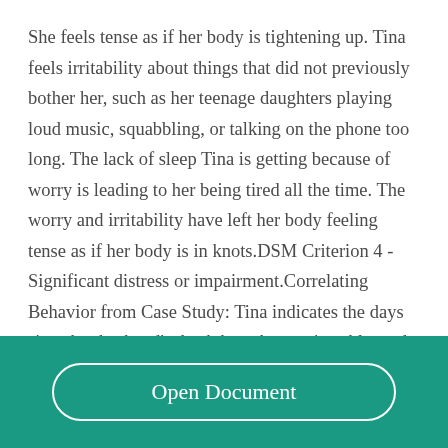She feels tense as if her body is tightening up. Tina feels irritability about things that did not previously bother her, such as her teenage daughters playing loud music, squabbling, or talking on the phone too long. The lack of sleep Tina is getting because of worry is leading to her being tired all the time. The worry and irritability have left her body feeling tense as if her body is in knots.DSM Criterion 4 - Significant distress or impairment.Correlating Behavior from Case Study: Tina indicates the days since her husband's death have been miserable, and
Open Document